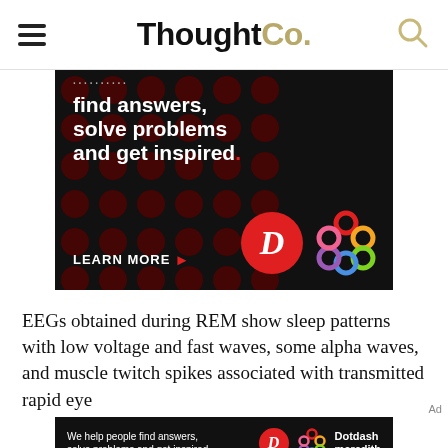ThoughtCo.
[Figure (photo): Advertisement banner on dark background with polka dot pattern. Text reads: 'find answers, solve problems and get inspired.' with LEARN MORE button, Dotdash D logo, and colorful Dotdash Meredith logo.]
EEGs obtained during REM show sleep patterns with low voltage and fast waves, some alpha waves, and muscle twitch spikes associated with transmitted rapid eye
[Figure (photo): Bottom advertisement banner. Text: 'We help people find answers, solve problems and get inspired.' with Dotdash D logo and Dotdash meredith branding.]